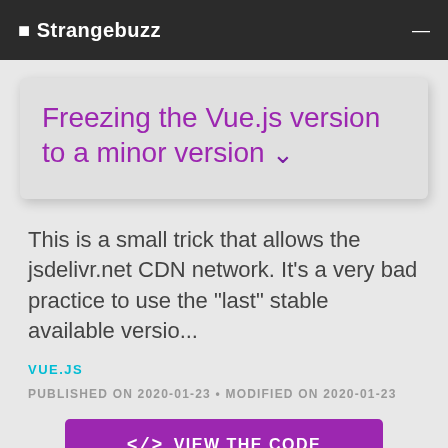Strangebuzz
Freezing the Vue.js version to a minor version
This is a small trick that allows the jsdelivr.net CDN network. It's a very bad practice to use the "last" stable available versio...
VUE.JS
PUBLISHED ON 2020-01-23 • MODIFIED ON 2020-01-23
VIEW THE CODE